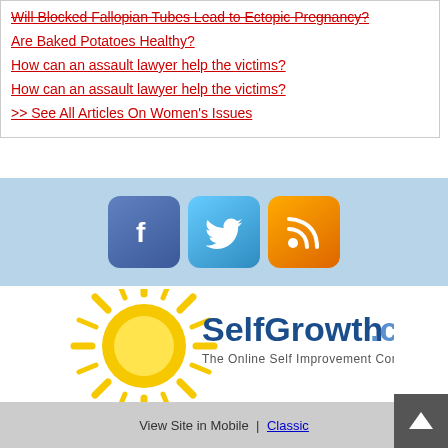Will Blocked Fallopian Tubes Lead to Ectopic Pregnancy?
Are Baked Potatoes Healthy?
How can an assault lawyer help the victims?
How can an assault lawyer help the victims?
>> See All Articles On Women's Issues
[Figure (logo): Social media icons: Facebook (blue), Twitter (light blue), RSS (orange)]
[Figure (logo): SelfGrowth.com logo with sun graphic and tagline 'The Online Self Improvement Community']
View Site in Mobile  |  Classic